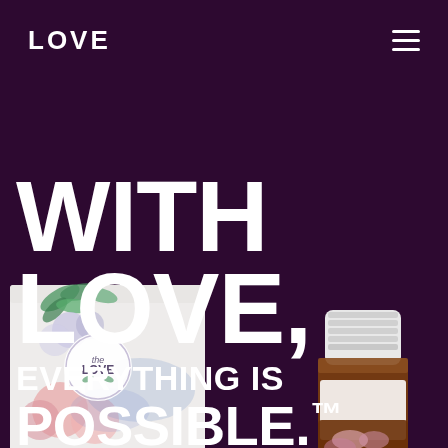LOVE
[Figure (photo): Dark purple background page with a floral product box (white with watercolor flowers illustration) and a small amber essential oil bottle with white cap in the foreground, plus a circular sticker label reading LOVE.]
WITH LOVE, EVERYTHING IS POSSIBLE.™